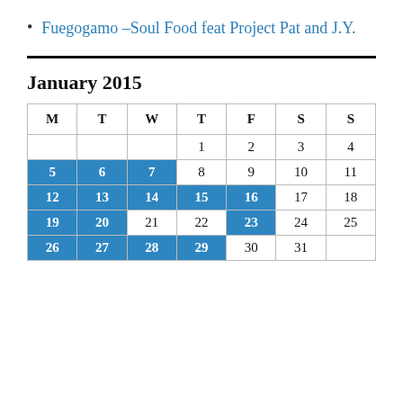Fuegogamo –Soul Food feat Project Pat and J.Y.
| M | T | W | T | F | S | S |
| --- | --- | --- | --- | --- | --- | --- |
|  |  |  | 1 | 2 | 3 | 4 |
| 5 | 6 | 7 | 8 | 9 | 10 | 11 |
| 12 | 13 | 14 | 15 | 16 | 17 | 18 |
| 19 | 20 | 21 | 22 | 23 | 24 | 25 |
| 26 | 27 | 28 | 29 | 30 | 31 |  |